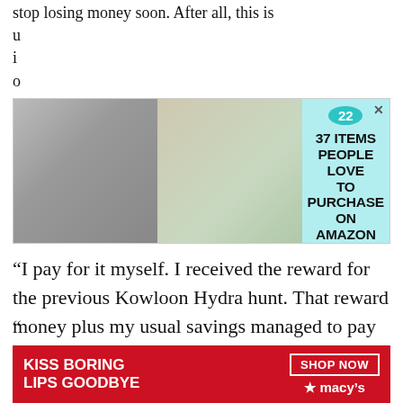stop losing money soon. After all, this is u... i... o...
[Figure (other): Advertisement banner with aqua background showing jewelry and a pink dispenser product on left, and text '22 months, 37 ITEMS PEOPLE LOVE TO PURCHASE ON AMAZON' on right]
“I pay for it myself. I received the reward for the previous Kowloon Hydra hunt. That reward money plus my usual savings managed to pay for it. I wanted to build a beautiful dragon nest for Emperor Zell, but I guess we’ll just have to make do.”
“…… I-Is that so?”
I felt sinful and guilty. I couldn’t look Aqua in the eyes.
[Figure (other): Advertisement banner for Macy's with red background showing 'KISS BORING LIPS GOODBYE' with a woman's face and red lips, and 'SHOP NOW' button with Macy's star logo]
“